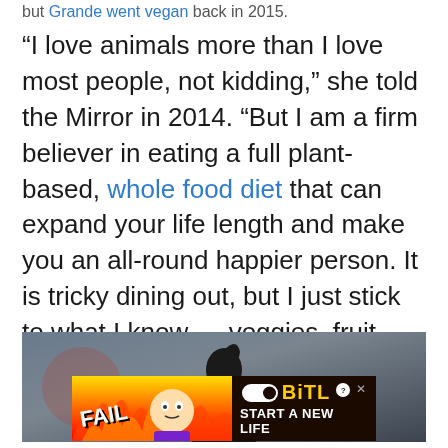but Grande went vegan back in 2015.
“I love animals more than I love most people, not kidding,” she told the Mirror in 2014. “But I am a firm believer in eating a full plant-based, whole food diet that can expand your life length and make you an all-round happier person. It is tricky dining out, but I just stick to what I know — veggies, fruit and salad— then when I get home I’ll have something else.”
[Figure (photo): Photo of Ariana Grande performing, showing her signature high ponytail hairstyle against a dark stage background]
[Figure (other): BitLife advertisement banner with flame graphics, FAIL text, cartoon character, and 'START A NEW LIFE' tagline]